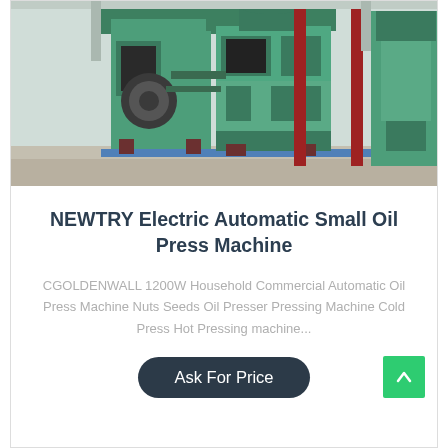[Figure (photo): Industrial green oil press machines lined up in a factory/warehouse setting. Multiple large green mechanical presses with red support poles on a concrete floor.]
NEWTRY Electric Automatic Small Oil Press Machine
CGOLDENWALL 1200W Household Commercial Automatic Oil Press Machine Nuts Seeds Oil Presser Pressing Machine Cold Press Hot Pressing machine...
Ask For Price